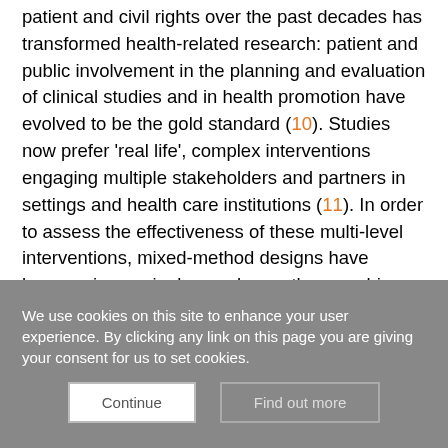patient and civil rights over the past decades has transformed health-related research: patient and public involvement in the planning and evaluation of clinical studies and in health promotion have evolved to be the gold standard (10). Studies now prefer 'real life', complex interventions engaging multiple stakeholders and partners in settings and health care institutions (11). In order to assess the effectiveness of these multi-level interventions, mixed-method designs have become increasingly popular, as they combine standardised measurements and surveys with intensive qualitative data collection methods such as interviews and focus group discussions (12-14).
We use cookies on this site to enhance your user experience. By clicking any link on this page you are giving your consent for us to set cookies.